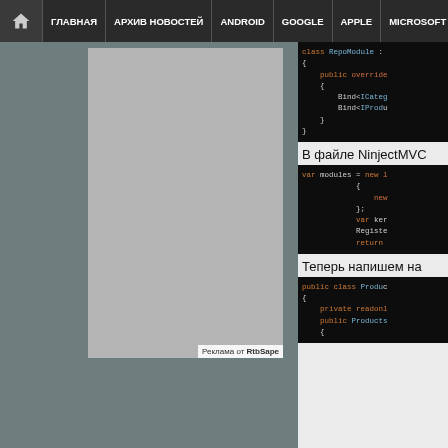🏠 ГЛАВНАЯ | АРХИВ НОВОСТЕЙ | ANDROID | GOOGLE | APPLE | MICROSOFT
[Figure (screenshot): Gray advertisement placeholder box with 'Реклама от RtbSape' label]
[Figure (screenshot): Code block showing class RepoModule with Bind<ICategory> and Bind<IProduct>]
В файле NinjectMVC...
[Figure (screenshot): Code block: var modules = new [...] { new ... }; var ker... Registe... return]
Теперь напишем на...
[Figure (screenshot): Code block: public class Produ... { private readon... public Products... {]